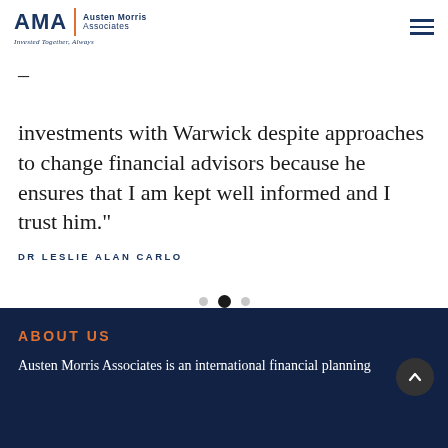[Figure (logo): AMA Austen Morris Associates logo with orange divider and italic tagline 'Invested Together, Always']
investments with Warwick despite approaches to change financial advisors because he ensures that I am kept well informed and I trust him."
DR LESLIE ALAN CARLO
[Figure (other): Carousel navigation dots: three dots with middle dot active/filled]
ABOUT US
Austen Morris Associates is an international financial planning